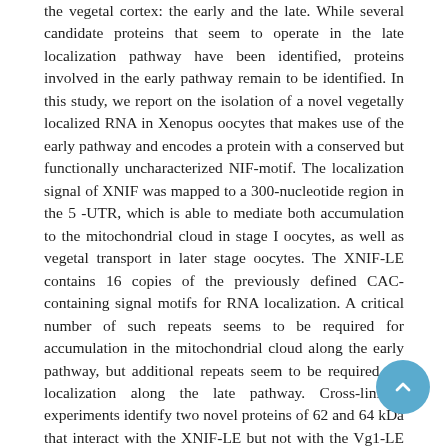the vegetal cortex: the early and the late. While several candidate proteins that seem to operate in the late localization pathway have been identified, proteins involved in the early pathway remain to be identified. In this study, we report on the isolation of a novel vegetally localized RNA in Xenopus oocytes that makes use of the early pathway and encodes a protein with a conserved but functionally uncharacterized NIF-motif. The localization signal of XNIF was mapped to a 300-nucleotide region in the 5-UTR, which is able to mediate both accumulation to the mitochondrial cloud in stage I oocytes, as well as vegetal transport in later stage oocytes. The XNIF-LE contains 16 copies of the previously defined CAC-containing signal motifs for RNA localization. A critical number of such repeats seems to be required for accumulation in the mitochondrial cloud along the early pathway, but additional repeats seem to be required for localization along the late pathway. Cross-linking experiments identify two novel proteins of 62 and 64 kDa that interact with the XNIF-LE but not with the Vg1-LE that operates in the late pathway. Conversely, at least two of the previously identified VgRBPs, Vg1RBP1 and Prrp, also bind to the XNIF-LE. Thus, overlapping, but not identical, protein machineries mediate vegetal RNA localization along early and late pathways in Xenopus oocytes.